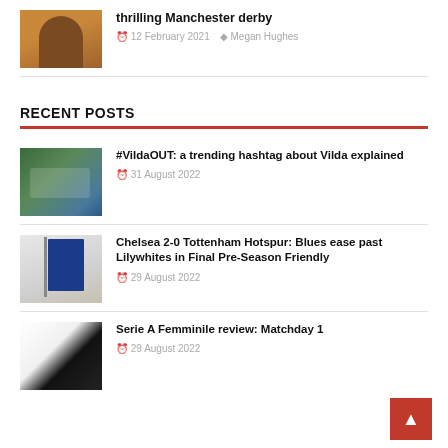thrilling Manchester derby
12 February 2021 · Megan Hughes
RECENT POSTS
#VildaOUT: a trending hashtag about Vilda explained
31 August 2022
Chelsea 2-0 Tottenham Hotspur: Blues ease past Lilywhites in Final Pre-Season Friendly
29 August 2022
Serie A Femminile review: Matchday 1
29 August 2022